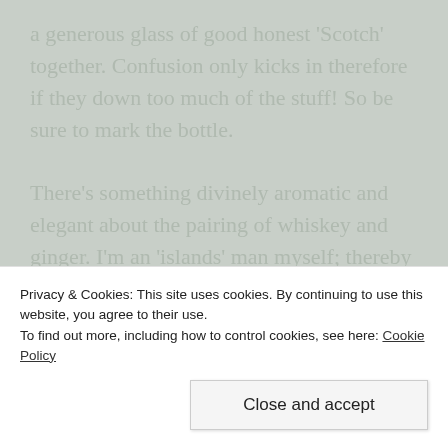a generous glass of good honest 'Scotch' together. Confusion only kicks in therefore if they down too much of the stuff! So be sure to mark the bottle.
There's something divinely aromatic and elegant about the pairing of whiskey and ginger. I'm an 'islands' man myself; thereby not smoked with wood as per the mainland variants (why? Islands don't have many trees). There's a heady wild 'peatiness' to the whiskey of the Scottish islands; far preferable in my own mind; and a taste that goes so well with other such equally poised flavours in this case, fresh ginger, lime zest and from...
Privacy & Cookies: This site uses cookies. By continuing to use this website, you agree to their use.
To find out more, including how to control cookies, see here: Cookie Policy
Close and accept